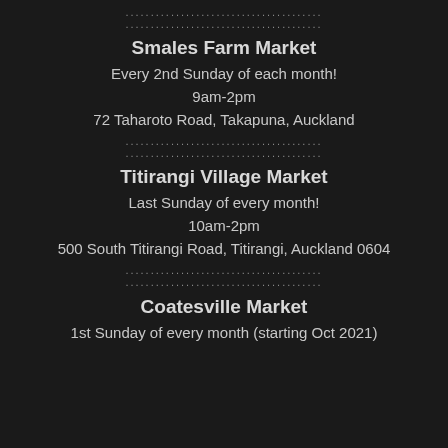......................................
......................................
Smales Farm Market
Every 2nd Sunday of each month!
9am-2pm
72 Taharoto Road, Takapuna, Auckland
......................................
......................................
Titirangi Village Market
Last Sunday of every month!
10am-2pm
500 South Titirangi Road, Titirangi, Auckland 0604
......................................
......................................
Coatesville Market
1st Sunday of every month (starting Oct 2021)